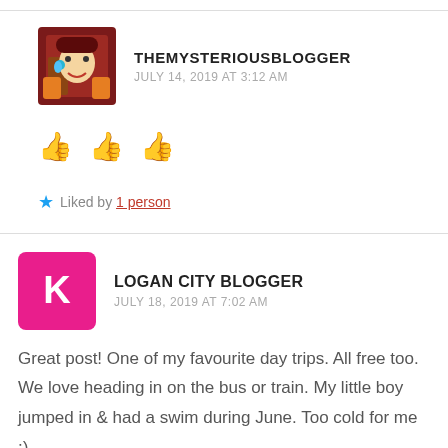THEMYSTERIOUSBLOGGER
JULY 14, 2019 AT 3:12 AM
👍👍👍
★ Liked by 1 person
LOGAN CITY BLOGGER
JULY 18, 2019 AT 7:02 AM
Great post! One of my favourite day trips. All free too. We love heading in on the bus or train. My little boy jumped in & had a swim during June. Too cold for me :).